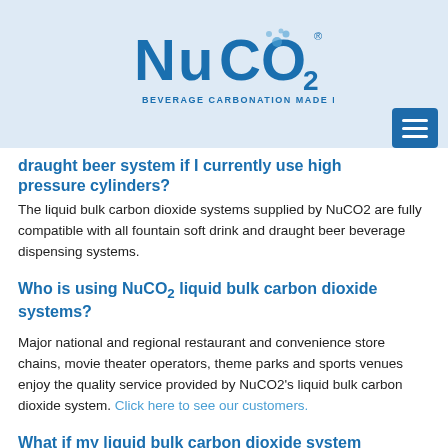[Figure (logo): NuCO2 logo - text logo with subscript 2, subtitle 'Beverage Carbonation Made Easy']
draught beer system if I currently use high pressure cylinders?
The liquid bulk carbon dioxide systems supplied by NuCO2 are fully compatible with all fountain soft drink and draught beer beverage dispensing systems.
Who is using NuCO2 liquid bulk carbon dioxide systems?
Major national and regional restaurant and convenience store chains, movie theater operators, theme parks and sports venues enjoy the quality service provided by NuCO2's liquid bulk carbon dioxide system. Click here to see our customers.
What if my liquid bulk carbon dioxide system